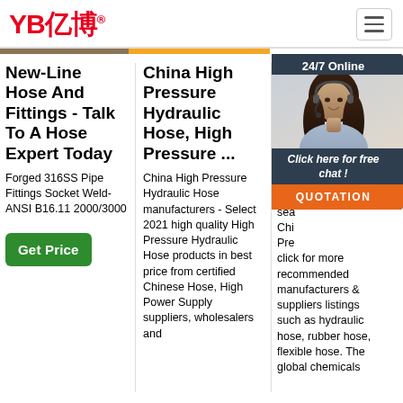YB亿博® [logo] | [menu icon]
New-Line Hose And Fittings - Talk To A Hose Expert Today
Forged 316SS Pipe Fittings Socket Weld-ANSI B16.11 2000/3000
Get Price
China High Pressure Hydraulic Hose, High Pressure ...
China High Pressure Hydraulic Hose manufacturers - Select 2021 high quality High Pressure Hydraulic Hose products in best price from certified Chinese Hose, High Power Supply suppliers, wholesalers and
Ch... Pr... Ho... Pr... Ma... ...
The... sea... Chi... Pre... click for more recommended manufacturers & suppliers listings such as hydraulic hose, rubber hose, flexible hose. The global chemicals
[Figure (photo): Chat popup with customer service representative photo, '24/7 Online' header, 'Click here for free chat!' text, and orange QUOTATION button]